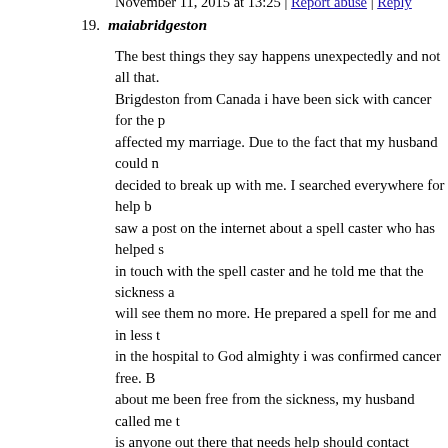November 11, 2015 at 13:25 | Report abuse | Reply
19. maiabridgeston
The best things they say happens unexpectedly and not all tha... Brigdeston from Canada i have been sick with cancer for the p... affected my marriage. Due to the fact that my husband could n... decided to break up with me. I searched everywhere for help b... saw a post on the internet about a spell caster who has helped s... in touch with the spell caster and he told me that the sickness a... will see them no more. He prepared a spell for me and in less t... in the hospital to God almighty i was confirmed cancer free. B... about me been free from the sickness, my husband called me t... is anyone out there that needs help should contact Doctor Okpa... Doctorokpamenspelltemple@hotmail.com )
November 29, 2015 at 07:24 | Report abuse | Reply
20. mary
i want to post a comment on how to get my ex lover back , boy girlfriend, my love ones and how to get pregnant now ,uk, cana...
February 5, 2016 at 09:38 | Report abuse | Reply
21. carnella scott
my name is carmella Scott,if you need hacking into a cheating phone,email,Facebook,bank statements etc,you really need the...